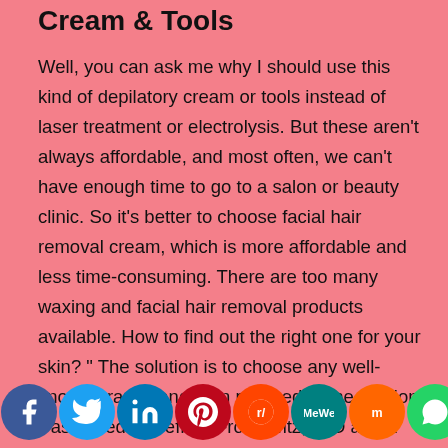Cream & Tools
Well, you can ask me why I should use this kind of depilatory cream or tools instead of laser treatment or electrolysis. But these aren't always affordable, and most often, we can't have enough time to go to a salon or beauty clinic. So it's better to choose facial hair removal cream, which is more affordable and less time-consuming. There are too many waxing and facial hair removal products available. How to find out the right one for your skin? " The solution is to choose any well-known brands and then proceed to the cautions "-assumed by Jeffrey Fromowitz, M.D and a ...
[Figure (infographic): Social sharing bar with icons for Facebook, Twitter, LinkedIn, Pinterest, Reddit, MeWe, Mix, WhatsApp, and More]